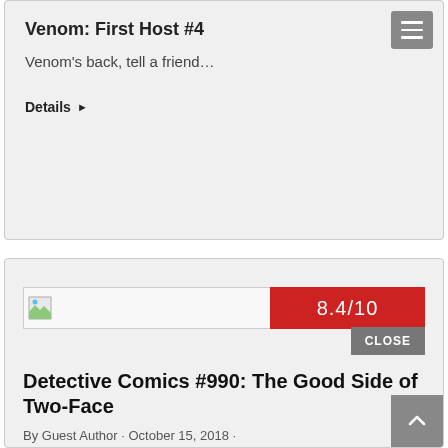Venom: First Host #4
Venom's back, tell a friend…
Details ▶
[Figure (other): Broken image placeholder with a score badge showing 8.4/10 in red]
Detective Comics #990: The Good Side of Two-Face
By Guest Author · October 15, 2018 ·